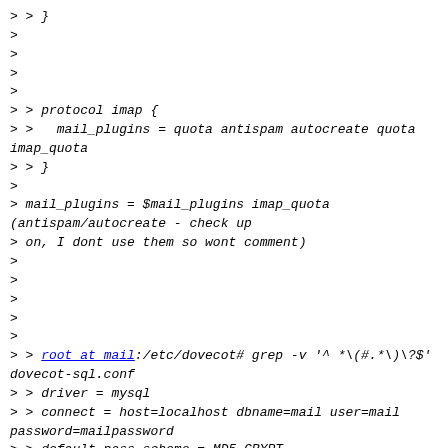> > }
>
>
>
>
> > protocol imap {
> >   mail_plugins = quota antispam autocreate quota imap_quota
> > }
>
> mail_plugins = $mail_plugins imap_quota (antispam/autocreate - check up
> on, I dont use them so wont comment)
>
>
>
>
>
> > root at mail:/etc/dovecot# grep -v '^ *\(#.*\)\?$' dovecot-sql.conf
> > driver = mysql
> > connect = host=localhost dbname=mail user=mail password=mailpassword
> > default_pass_scheme = MD5-CRYPT
>
>
> not affecting, but a word of advice, if you have a modern system change
> that to CRYPT (no, it if you have a modern OS it will NOT use the old